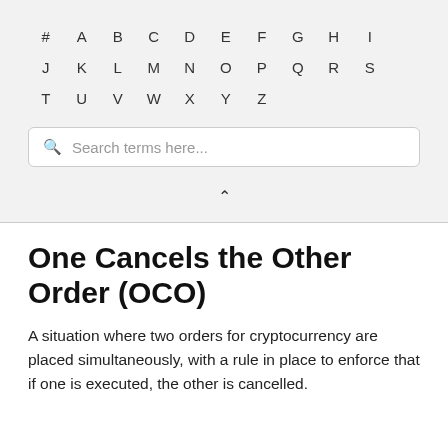# A B C D E F G H I J K L M N O P Q R S T U V W X Y Z
Search terms here...
One Cancels the Other Order (OCO)
A situation where two orders for cryptocurrency are placed simultaneously, with a rule in place to enforce that if one is executed, the other is cancelled.